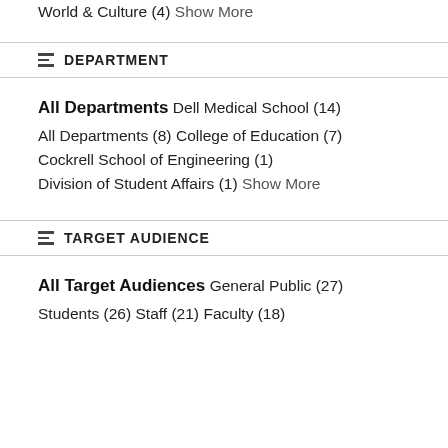World & Culture (4)
Show More
DEPARTMENT
All Departments
Dell Medical School (14)
All Departments (8)
College of Education (7)
Cockrell School of Engineering (1)
Division of Student Affairs (1)
Show More
TARGET AUDIENCE
All Target Audiences
General Public (27)
Students (26)
Staff (21)
Faculty (18)